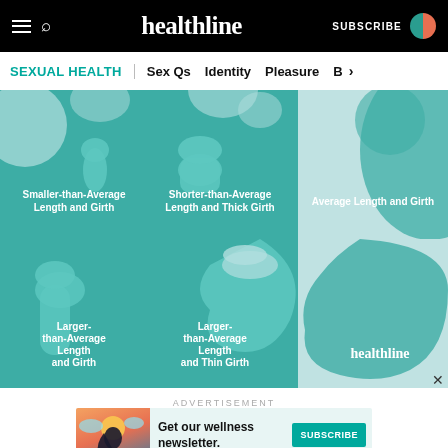healthline | SUBSCRIBE
SEXUAL HEALTH | Sex Qs | Identity | Pleasure | B >
[Figure (infographic): Grid of 5 illustrated anatomical diagrams in teal/light blue showing different size categories: Smaller-than-Average Length and Girth, Shorter-than-Average Length and Thick Girth, Average Length and Girth (top row), Larger-than-Average Length and Girth, Larger-than-Average Length and Thin Girth (bottom row). Healthline logo in bottom right.]
ADVERTISEMENT
[Figure (infographic): Advertisement banner: Get our wellness newsletter. Subscribe button. Illustration of a woman with colorful clouds/sun background.]